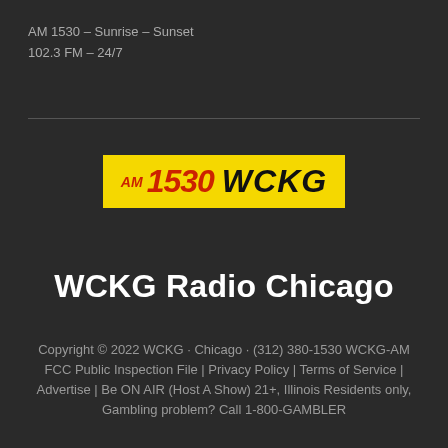AM 1530 – Sunrise – Sunset
102.3 FM – 24/7
[Figure (logo): AM 1530 WCKG radio station logo on yellow background with red and black text]
WCKG Radio Chicago
Copyright © 2022 WCKG · Chicago · (312) 380-1530 WCKG-AM FCC Public Inspection File | Privacy Policy | Terms of Service | Advertise | Be ON AIR (Host A Show) 21+, Illinois Residents only, Gambling problem? Call 1-800-GAMBLER